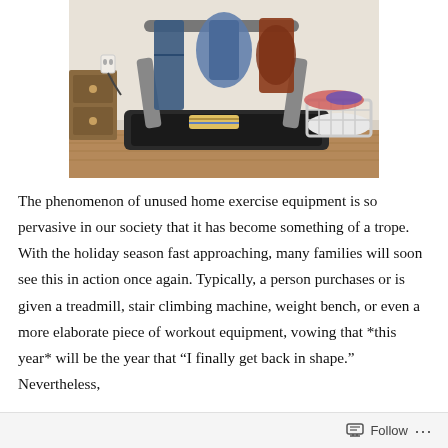[Figure (photo): A treadmill being used as a clothes rack, with jeans, jackets, and other clothing draped over its handlebars and rails. A laundry basket is visible to the right. The scene is in a home room with wooden floors and white walls.]
The phenomenon of unused home exercise equipment is so pervasive in our society that it has become something of a trope. With the holiday season fast approaching, many families will soon see this in action once again. Typically, a person purchases or is given a treadmill, stair climbing machine, weight bench, or even a more elaborate piece of workout equipment, vowing that *this year* will be the year that “I finally get back in shape.” Nevertheless,
Follow ...